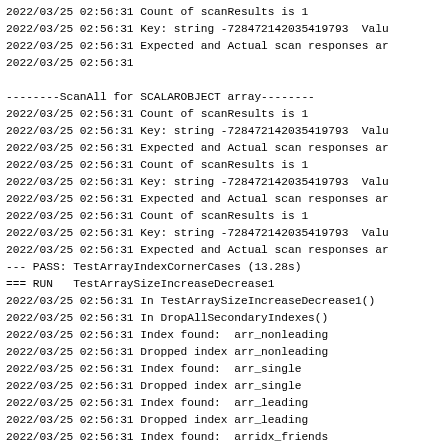2022/03/25 02:56:31 Count of scanResults is 1
2022/03/25 02:56:31 Key: string -728472142035419793  Valu
2022/03/25 02:56:31 Expected and Actual scan responses ar
2022/03/25 02:56:31

--------ScanAll for SCALAROBJECT array--------
2022/03/25 02:56:31 Count of scanResults is 1
2022/03/25 02:56:31 Key: string -728472142035419793  Valu
2022/03/25 02:56:31 Expected and Actual scan responses ar
2022/03/25 02:56:31 Count of scanResults is 1
2022/03/25 02:56:31 Key: string -728472142035419793  Valu
2022/03/25 02:56:31 Expected and Actual scan responses ar
2022/03/25 02:56:31 Count of scanResults is 1
2022/03/25 02:56:31 Key: string -728472142035419793  Valu
2022/03/25 02:56:31 Expected and Actual scan responses ar
--- PASS: TestArrayIndexCornerCases (13.28s)
=== RUN   TestArraySizeIncreaseDecrease1
2022/03/25 02:56:31 In TestArraySizeIncreaseDecrease1()
2022/03/25 02:56:31 In DropAllSecondaryIndexes()
2022/03/25 02:56:31 Index found:  arr_nonleading
2022/03/25 02:56:31 Dropped index arr_nonleading
2022/03/25 02:56:31 Index found:  arr_single
2022/03/25 02:56:31 Dropped index arr_single
2022/03/25 02:56:31 Index found:  arr_leading
2022/03/25 02:56:31 Dropped index arr_leading
2022/03/25 02:56:31 Index found:  arridx_friends
2022/03/25 02:56:31 Dropped index arridx_friends
2022/03/25 02:57:09 Flushed the bucket default, Response
2022/03/25 02:57:09 Changing config key indexer.settings
2022/03/25 02:57:10 Changing config key indexer.settings